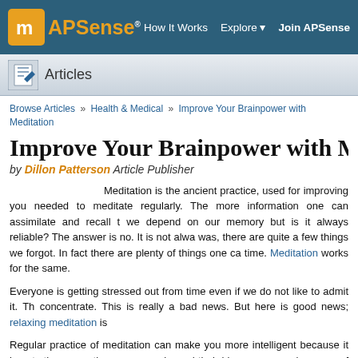APSense® | How It Works | Explore | Join APSense
Articles
Browse Articles » Health & Medical » Improve Your Brainpower with Meditation
Improve Your Brainpower with Meditation
by Dillon Patterson  Article Publisher
Meditation is the ancient practice, used for improving you needed to meditate regularly. The more information one can assimilate and recall t we depend on our memory but is it always reliable? The answer is no. It is not alwa was, there are quite a few things we forgot. In fact there are plenty of things one ca time. Meditation works for the same.
Everyone is getting stressed out from time even if we do not like to admit it. Th concentrate. This is really a bad news. But here is good news; relaxing meditation is
Regular practice of meditation can make you more intelligent because it boosts the magnetic resonance showed their hippocampus a key area of the brain associated emotion were also larger than in people who did not practice the ancient technique.
When one goes to meditate, he wants to attain the sate of tranquility, calm and m techniques, we can enjoy the benefits of this exercise every day. It is a natur